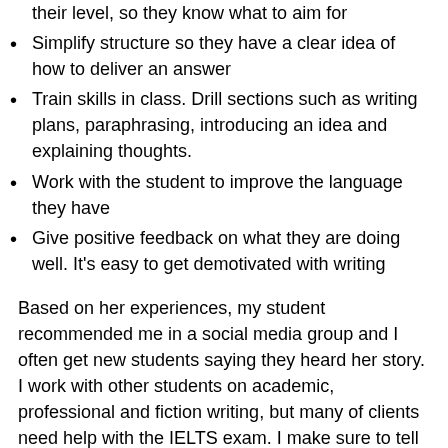their level, so they know what to aim for
Simplify structure so they have a clear idea of how to deliver an answer
Train skills in class. Drill sections such as writing plans, paraphrasing, introducing an idea and explaining thoughts.
Work with the student to improve the language they have
Give positive feedback on what they are doing well. It's easy to get demotivated with writing
Based on her experiences, my student recommended me in a social media group and I often get new students saying they heard her story. I work with other students on academic, professional and fiction writing, but many of clients need help with the IELTS exam. I make sure to tell them that I can work with them to improve their answers, but I am not a false prophet or even an IELTS guru!